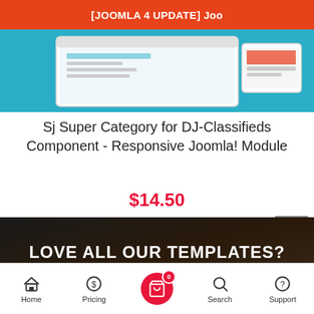[JOOMLA 4 UPDATE] Joo
[Figure (screenshot): Product screenshot showing a website template preview with blue/teal background and device mockups]
Sj Super Category for DJ-Classifieds Component - Responsive Joomla! Module
$14.50
LOVE ALL OUR TEMPLATES?
Home  Pricing  0  Search  Support